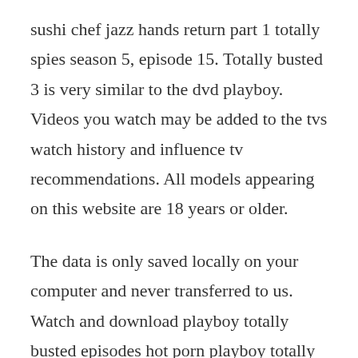sushi chef jazz hands return part 1 totally spies season 5, episode 15. Totally busted 3 is very similar to the dvd playboy. Videos you watch may be added to the tvs watch history and influence tv recommendations. All models appearing on this website are 18 years or older.
The data is only saved locally on your computer and never transferred to us. Watch and download playboy totally busted episodes hot porn playboy totally busted episodes mp4 movie and download to phone. Imdb